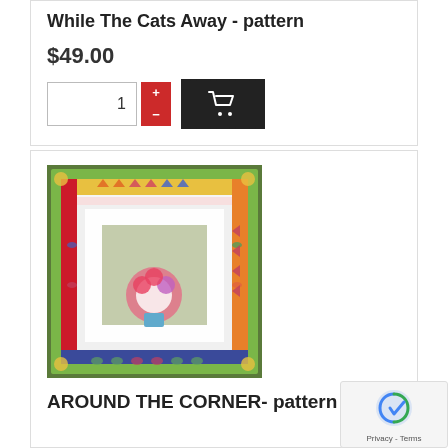While The Cats Away - pattern
$49.00
[Figure (screenshot): Quantity selector with +/- buttons and add-to-cart button showing shopping cart icon]
[Figure (photo): Colorful quilt with floral and geometric patterns, birds, and decorative border in greens, pinks, and oranges]
AROUND THE CORNER- pattern